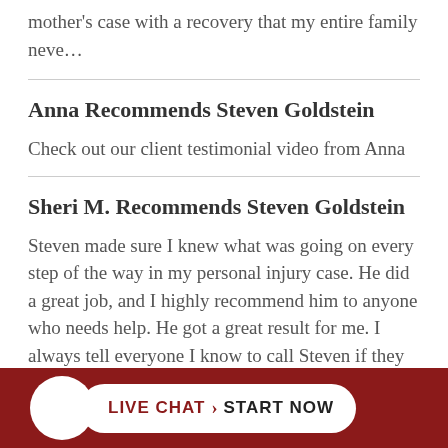mother's case with a recovery that my entire family neve…
Anna Recommends Steven Goldstein
Check out our client testimonial video from Anna
Sheri M. Recommends Steven Goldstein
Steven made sure I knew what was going on every step of the way in my personal injury case. He did a great job, and I highly recommend him to anyone who needs help. He got a great result for me. I always tell everyone I know to call Steven if they are hurt in an accident.
LIVE CHAT › START NOW